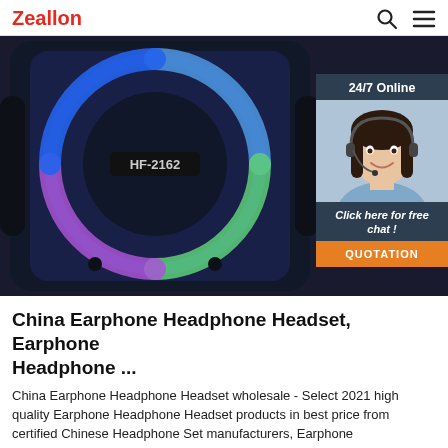Zeallon
[Figure (photo): Close-up photo of a blue portable Bluetooth speaker (model HF-2162) with a colorful LED ring light glowing in blue, green, and purple hues on a dark background. Overlaid on the right side is a customer support widget showing '24/7 Online', a smiling woman wearing a headset, italic text 'Click here for free chat!', and an orange button labeled 'QUOTATION'.]
China Earphone Headphone Headset, Earphone Headphone ...
China Earphone Headphone Headset wholesale - Select 2021 high quality Earphone Headphone Headset products in best price from certified Chinese Headphone Set manufacturers, Earphone